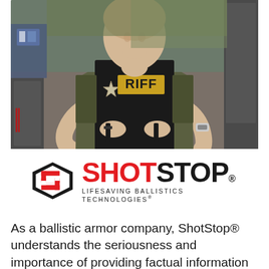[Figure (photo): A man in a white t-shirt wearing a black tactical ballistic vest with a sheriff star badge and a patch reading 'RIFF', adjusting or putting on the vest. He is photographed from mid-torso up in an outdoor setting near a vehicle.]
[Figure (logo): ShotStop logo: red and black S-shaped shield icon on the left, with 'SHOT' in red and 'STOP' in black bold text, and the tagline 'LIFESAVING BALLISTICS TECHNOLOGIES' below in spaced black text.]
As a ballistic armor company, ShotStop® understands the seriousness and importance of providing factual information and products that back up our claims.